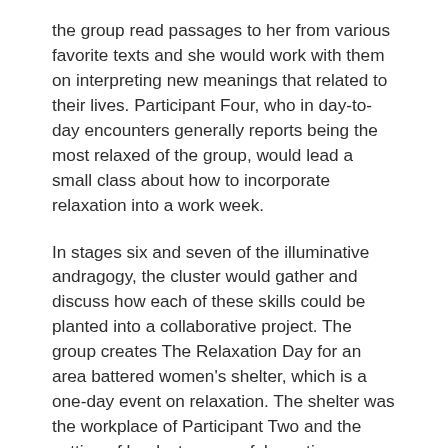the group read passages to her from various favorite texts and she would work with them on interpreting new meanings that related to their lives. Participant Four, who in day-to-day encounters generally reports being the most relaxed of the group, would lead a small class about how to incorporate relaxation into a work week.
In stages six and seven of the illuminative andragogy, the cluster would gather and discuss how each of these skills could be planted into a collaborative project. The group creates The Relaxation Day for an area battered women's shelter, which is a one-day event on relaxation. The shelter was the workplace of Participant Two and the setting of her last successful meeting. Participant One puts together a class for the women on how to cook easy, inexpensive yet appetizing meals based on her own experience of being a single mom living on a tight budget. Participant Four designs a session for the